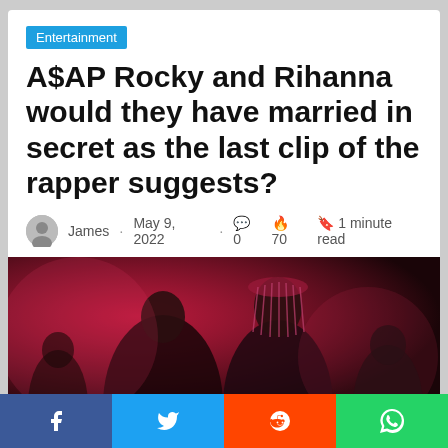Entertainment
A$AP Rocky and Rihanna would they have married in secret as the last clip of the rapper suggests?
James · May 9, 2022 · 0 · 70 · 1 minute read
[Figure (photo): A$AP Rocky and Rihanna seated together at an event with red ambient lighting. Rihanna wears an elaborate beaded headdress.]